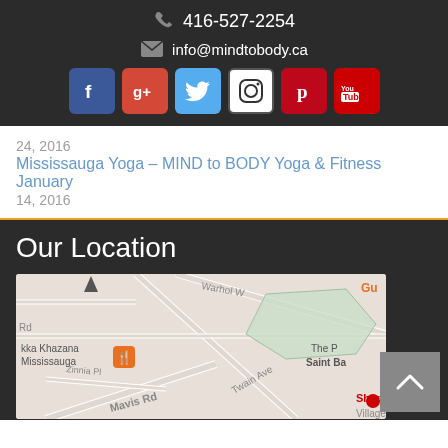416-527-2254
info@mindtobody.ca
[Figure (other): Social media icons: Facebook, Google+, Twitter, Instagram, Pinterest, YouTube]
24, 2016
Mississauga Yoga – MIND to BODY Yoga & Fitness January
14, 2016
Our Location
[Figure (map): Google Maps screenshot showing Mississauga area with streets including Warhol W, Twain Ave, Mavis Rd, Zinnia Pl, and locations including kka Khazana Mississauga, The (truncated), Saint Ba(truncated), Shoppers Drug Mart, Village (truncated), Gu(truncated)]